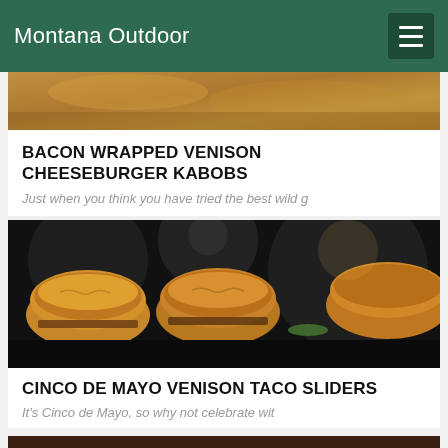Montana Outdoor
[Figure (photo): Top portion of a food photo showing bacon wrapped venison cheeseburger kabobs]
BACON WRAPPED VENISON CHEESEBURGER KABOBS
Just when you think you have tried the best wild g
[Figure (photo): Close-up photo of Cinco de Mayo venison taco sliders - small burgers/sliders on a dark background]
CINCO DE MAYO VENISON TACO SLIDERS
It's Cinco de Mayo, so why not celebrate wit
[Figure (photo): Partial view of a third food item at the bottom of the page]